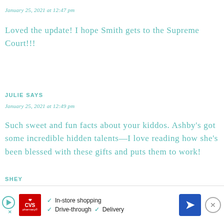January 25, 2021 at 12:47 pm
Loved the update! I hope Smith gets to the Supreme Court!!!
JULIE SAYS
January 25, 2021 at 12:49 pm
Such sweet and fun facts about your kiddos. Ashby's got some incredible hidden talents—I love reading how she's been blessed with these gifts and puts them to work!
SHEY
[Figure (other): CVS Pharmacy advertisement banner showing logo, play button, and features: In-store shopping, Drive-through, Delivery, with navigation arrow and close button]